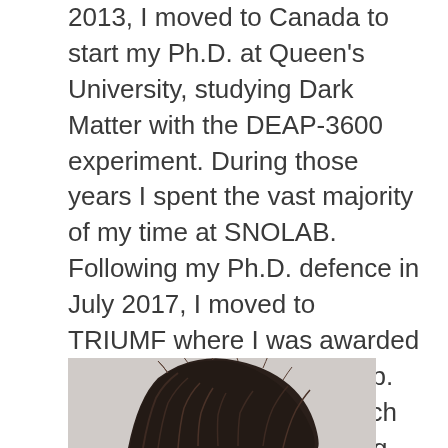2013, I moved to Canada to start my Ph.D. at Queen's University, studying Dark Matter with the DEAP-3600 experiment. During those years I spent the vast majority of my time at SNOLAB. Following my Ph.D. defence in July 2017, I moved to TRIUMF where I was awarded the Otto Hausser fellowship. At TRIUMF I built a research program focused on solving the Dark Matter problem (with the SBC experiment) and understanding the origin of the Matter-Antimatter Asymmetry (using Ultra-Cold Neutrons).
[Figure (photo): Top portion of a person's head showing dark curly/wavy hair, partially cropped at the bottom of the page.]